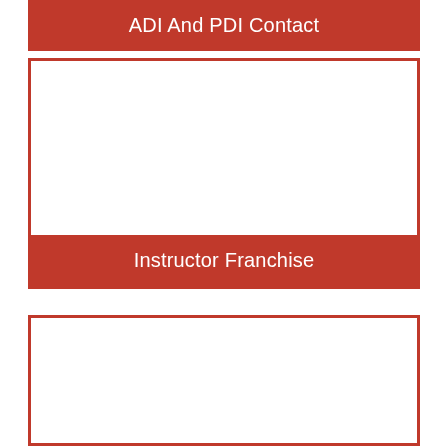ADI And PDI Contact
[Figure (other): Empty white box with red border — content area for ADI And PDI Contact section]
Instructor Franchise
[Figure (other): Empty white box with red border — content area for second section]